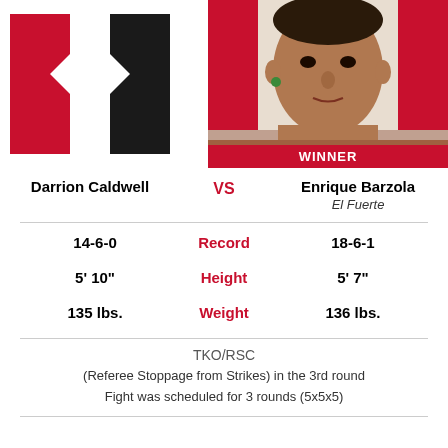[Figure (photo): Left fighter placeholder image showing UFC logo shapes in red and black on white background]
[Figure (photo): Photo of Enrique Barzola with WINNER banner at bottom in red]
Darrion Caldwell VS Enrique Barzola El Fuerte
|  | Stat |  |
| --- | --- | --- |
| 14-6-0 | Record | 18-6-1 |
| 5' 10" | Height | 5' 7" |
| 135 lbs. | Weight | 136 lbs. |
TKO/RSC
(Referee Stoppage from Strikes) in the 3rd round
Fight was scheduled for 3 rounds (5x5x5)